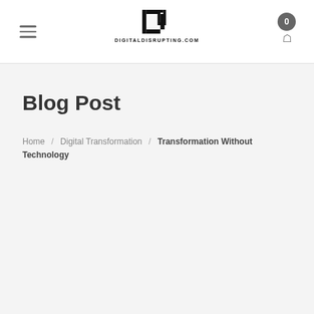DIGITALDISRUPTING.COM — navigation header with logo and cart
Blog Post
Home / Digital Transformation / Transformation Without Technology